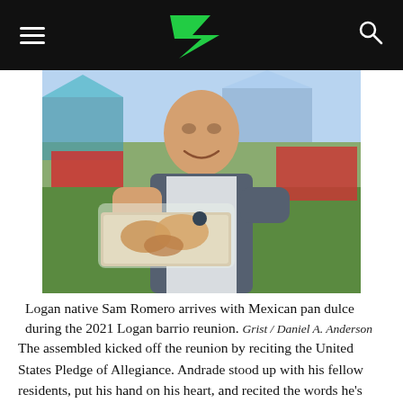Grist
[Figure (photo): Sam Romero, an elderly man smiling, holding a box of Mexican pan dulce wrapped in a clear bag at an outdoor community event with tents and red tables in the background.]
Logan native Sam Romero arrives with Mexican pan dulce during the 2021 Logan barrio reunion. Grist / Daniel A. Anderson
The assembled kicked off the reunion by reciting the United States Pledge of Allegiance. Andrade stood up with his fellow residents, put his hand on his heart, and recited the words he's known nearly his entire life in reverence of the only